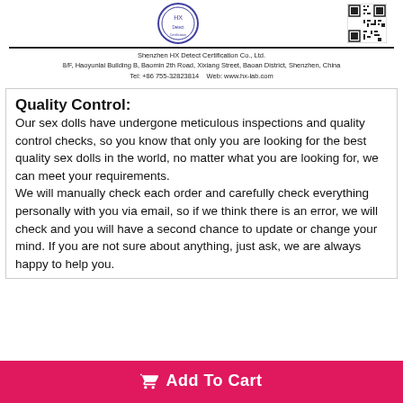Shenzhen HX Detect Certification Co., Ltd.
8/F, Haoyunlai Building B, Baomin 2th Road, Xixiang Street, Baoan District, Shenzhen, China
Tel: +86 755-32823814    Web: www.hx-lab.com
Quality Control:
Our sex dolls have undergone meticulous inspections and quality control checks, so you know that only you are looking for the best quality sex dolls in the world, no matter what you are looking for, we can meet your requirements.
We will manually check each order and carefully check everything personally with you via email, so if we think there is an error, we will check and you will have a second chance to update or change your mind. If you are not sure about anything, just ask, we are always happy to help you.